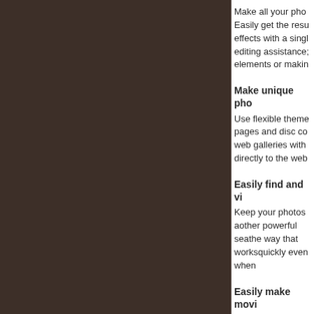[Figure (photo): Dark brown panel occupying the left portion of the page]
Make all your pho... Easily get the resu... effects with a singl... editing assistance;... elements or makin...
Make unique pho...
Use flexible theme... pages and disc co... web galleries with ... directly to the web...
Easily find and vi...
Keep your photos a... other powerful sea... the way that works ... quickly even when...
Easily make movi...
Create your first m... Get started quickly... incredible mo! vies ... into a polished mov...